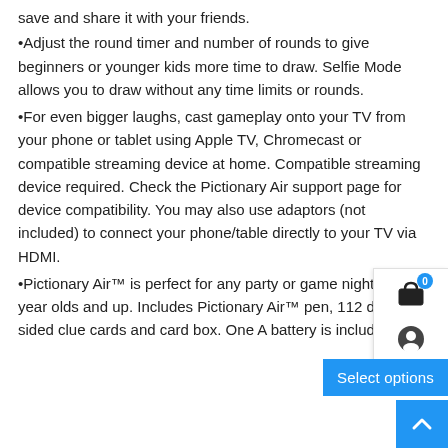save and share it with your friends.
•Adjust the round timer and number of rounds to give beginners or younger kids more time to draw. Selfie Mode allows you to draw without any time limits or rounds.
•For even bigger laughs, cast gameplay onto your TV from your phone or tablet using Apple TV, Chromecast or compatible streaming device at home. Compatible streaming device required. Check the Pictionary Air support page for device compatibility. You may also use adaptors (not included) to connect your phone/table directly to your TV via HDMI.
•Pictionary Air™ is perfect for any party or game night w 8-year olds and up. Includes Pictionary Air™ pen, 112 double-sided clue cards and card box. One A battery is included